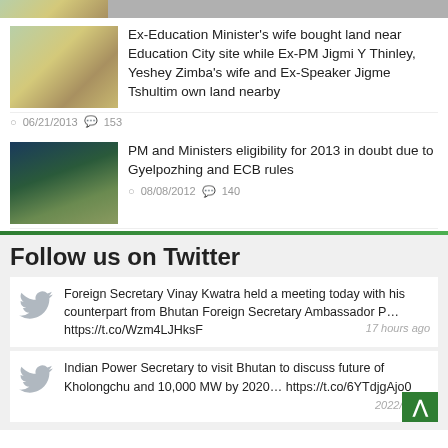[Figure (photo): Cropped top portion of a map/aerial image news thumbnail]
[Figure (photo): Satellite map image showing land near Education City site]
Ex-Education Minister's wife bought land near Education City site while Ex-PM Jigmi Y Thinley, Yeshey Zimba's wife and Ex-Speaker Jigme Tshultim own land nearby
06/21/2013  153
[Figure (photo): Aerial photograph of a hillside settlement]
PM and Ministers eligibility for 2013 in doubt due to Gyelpozhing and ECB rules
08/08/2012  140
Follow us on Twitter
Foreign Secretary Vinay Kwatra held a meeting today with his counterpart from Bhutan Foreign Secretary Ambassador P… https://t.co/Wzm4LJHksF
17 hours ago
Indian Power Secretary to visit Bhutan to discuss future of Kholongchu and 10,000 MW by 2020… https://t.co/6YTdjgAjo0
2022/08/22